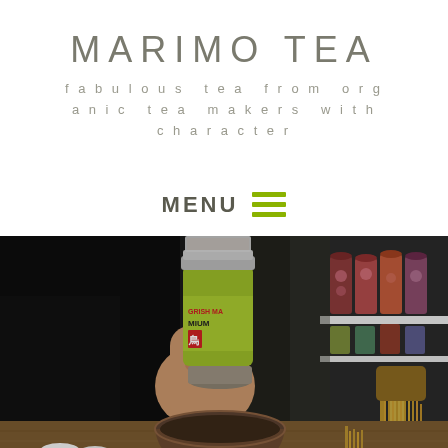MARIMO TEA
fabulous tea from organic tea makers with character
MENU
[Figure (photo): A person holding a small green-labeled tea tin (partially reading GRISHMA MIUM) above a ceramic matcha bowl, with bamboo tea whisks and colorful tea canisters in the background on a wooden table.]